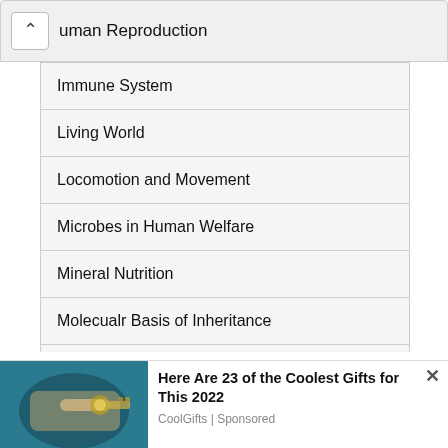Human Reproduction
Immune System
Living World
Locomotion and Movement
Microbes in Human Welfare
Mineral Nutrition
Molecualr Basis of Inheritance
Neural Coordination
We use cookies on our website to give you the most relevant experience by remembering your preferences and repeat visits. By clicking “Accept”, you consent to the use of ALL the cookies.
Do not sell my personal information.
[Figure (infographic): Advertisement banner: photo of a hand holding a key on the left, with text 'Here Are 23 of the Coolest Gifts for This 2022' and source 'CoolGifts | Sponsored' on the right, with an X close button.]